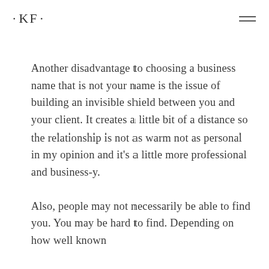• KF •
Another disadvantage to choosing a business name that is not your name is the issue of building an invisible shield between you and your client. It creates a little bit of a distance so the relationship is not as warm not as personal in my opinion and it's a little more professional and business-y.
Also, people may not necessarily be able to find you. You may be hard to find. Depending on how well known